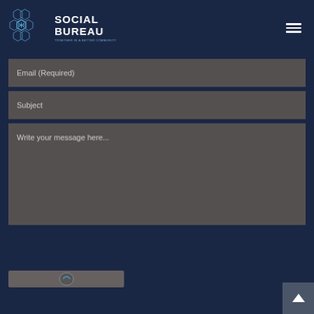SOCIAL BUREAU
Email (Required)
Subject
Write your message here...
[Figure (logo): Social Bureau logo with hexagonal grid pattern in blue and white, with text SOCIAL BUREAU]